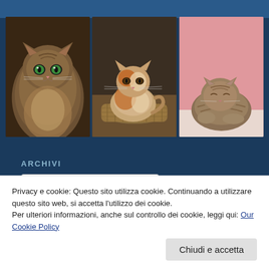[Figure (photo): Three cat photos arranged in a horizontal grid. Left: long-haired tabby cat with green eyes facing camera. Middle: calico/orange-white cat sitting in a woven basket. Right: small tabby kitten sleeping on a pink background.]
ARCHIVI
Seleziona mese (dropdown)
Privacy e cookie: Questo sito utilizza cookie. Continuando a utilizzare questo sito web, si accetta l'utilizzo dei cookie.
Per ulteriori informazioni, anche sul controllo dei cookie, leggi qui: Our Cookie Policy
Chiudi e accetta